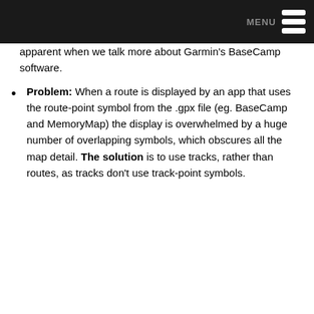MENU
apparent when we talk more about Garmin's BaseCamp software.
Problem: When a route is displayed by an app that uses the route-point symbol from the .gpx file (eg. BaseCamp and MemoryMap) the display is overwhelmed by a huge number of overlapping symbols, which obscures all the map detail. The solution is to use tracks, rather than routes, as tracks don't use track-point symbols.